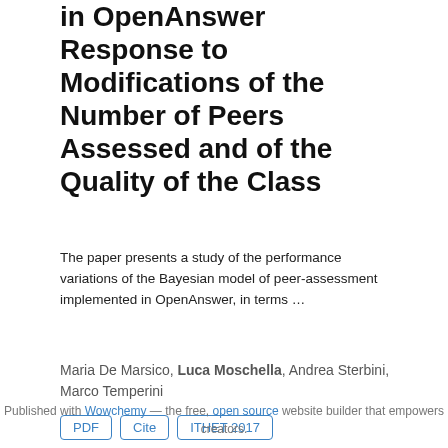in OpenAnswer Response to Modifications of the Number of Peers Assessed and of the Quality of the Class
The paper presents a study of the performance variations of the Bayesian model of peer-assessment implemented in OpenAnswer, in terms …
Maria De Marsico, Luca Moschella, Andrea Sterbini, Marco Temperini
PDF  Cite  ITHET 2017
Published with Wowchemy — the free, open source website builder that empowers creators.